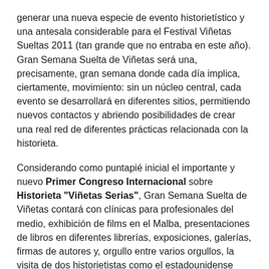generar una nueva especie de evento historietístico y una antesala considerable para el Festival Viñetas Sueltas 2011 (tan grande que no entraba en este año). Gran Semana Suelta de Viñetas será una, precisamente, gran semana donde cada día implica, ciertamente, movimiento: sin un núcleo central, cada evento se desarrollará en diferentes sitios, permitiendo nuevos contactos y abriendo posibilidades de crear una real red de diferentes prácticas relacionada con la historieta.
Considerando como puntapié inicial el importante y nuevo Primer Congreso Internacional sobre Historieta "Viñetas Serias", Gran Semana Suelta de Viñetas contará con clínicas para profesionales del medio, exhibición de films en el Malba, presentaciones de libros en diferentes librerías, exposiciones, galerías, firmas de autores y, orgullo entre varios orgullos, la visita de dos historietistas como el estadounidense Peter Kuper y el español Felipe Hernández Cava. Desde el 23 de septiembre al 2 de octubre, se viene la Gran Semana Suelta de Viñetas y, para variar, no es la misma historieta de siempre.